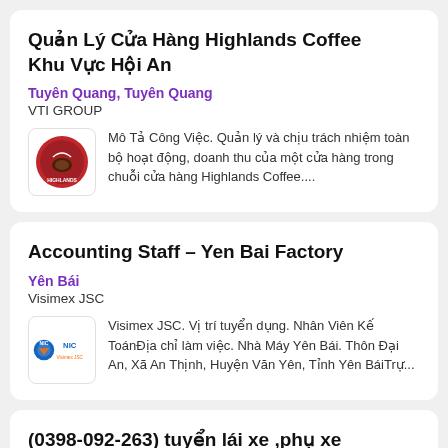Quản Lý Cửa Hàng Highlands Coffee Khu Vực Hội An
Tuyên Quang, Tuyên Quang
VTI GROUP
[Figure (logo): Highlands Coffee circular red logo]
Mô Tả Công Việc. Quản lý và chịu trách nhiệm toàn bộ hoạt động, doanh thu của một cửa hàng trong chuỗi cửa hàng Highlands Coffee....
Accounting Staff – Yen Bai Factory
Yên Bái
Visimex JSC
[Figure (logo): NIC Visimex JSC logo — blue and orange]
Visimex JSC. Vị trí tuyển dụng. Nhân Viên Kế ToánĐịa chỉ làm việc. Nhà Máy Yên Bái. Thôn Đại An, Xã An Thịnh, Huyện Văn Yên, Tỉnh Yên BáiTrự...
(0398-092-263) tuyển lái xe ,phụ xe hàng tại Thái Nguyên